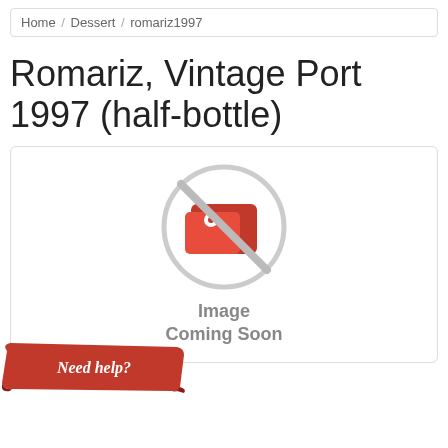Home / Dessert / romariz1997
Romariz, Vintage Port 1997 (half-bottle)
[Figure (illustration): Image Coming Soon placeholder with a red camera/image icon crossed out with a diagonal line inside a grey circle, with text 'Image Coming Soon' below]
[Figure (illustration): Red banner button with handwritten-style white text reading 'Need help?']